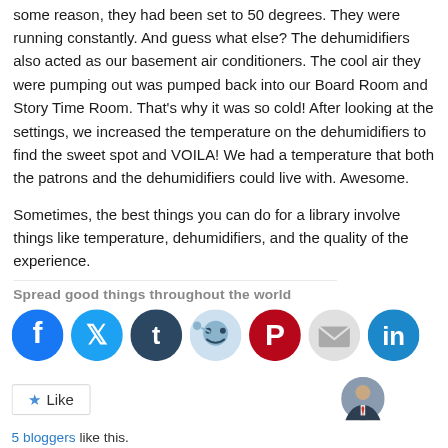some reason, they had been set to 50 degrees. They were running constantly. And guess what else? The dehumidifiers also acted as our basement air conditioners. The cool air they were pumping out was pumped back into our Board Room and Story Time Room. That's why it was so cold! After looking at the settings, we increased the temperature on the dehumidifiers to find the sweet spot and VOILA! We had a temperature that both the patrons and the dehumidifiers could live with. Awesome.
Sometimes, the best things you can do for a library involve things like temperature, dehumidifiers, and the quality of the experience.
Spread good things throughout the world
[Figure (infographic): Social media share buttons: Facebook (blue), Twitter (light blue), Tumblr (dark blue), Reddit (light blue/gray), Pinterest (red), Email (light gray), LinkedIn (blue)]
Like
[Figure (photo): Small circular avatar photo of a person in a suit]
5 bloggers like this.